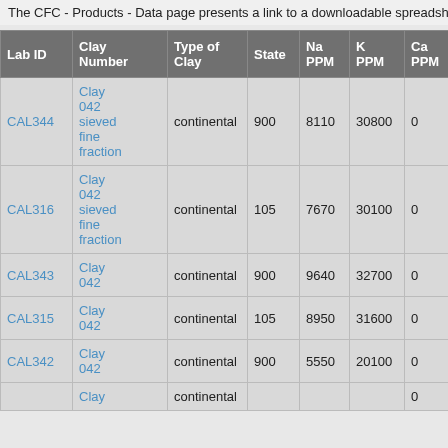The CFC - Products - Data page presents a link to a downloadable spreadshee
| Lab ID | Clay Number | Type of Clay | State | Na PPM | K PPM | Ca PPM | Sc PP |
| --- | --- | --- | --- | --- | --- | --- | --- |
| CAL344 | Clay 042 sieved fine fraction | continental | 900 | 8110 | 30800 | 0 | 15 |
| CAL316 | Clay 042 sieved fine fraction | continental | 105 | 7670 | 30100 | 0 | 14 |
| CAL343 | Clay 042 | continental | 900 | 9640 | 32700 | 0 | 14 |
| CAL315 | Clay 042 | continental | 105 | 8950 | 31600 | 0 | 13 |
| CAL342 | Clay 042 | continental | 900 | 5550 | 20100 | 0 | 15 |
| CAL3__ | Clay | continental | ___ | ____ | _____ | 0 |  |